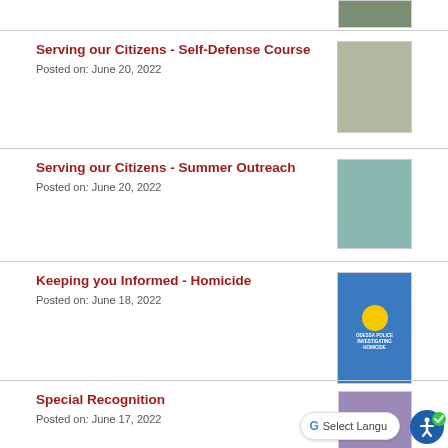[Figure (photo): Group photo partial view at top]
Serving our Citizens - Self-Defense Course
Posted on: June 20, 2022
[Figure (photo): Group of people at self-defense course]
Serving our Citizens - Summer Outreach
Posted on: June 20, 2022
[Figure (photo): Summer outreach event outdoors]
Keeping you Informed - Homicide
Posted on: June 18, 2022
[Figure (photo): Odessa Police Investigating Homicide announcement graphic]
Special Recognition
Posted on: June 17, 2022
[Figure (photo): Two people posing for photo]
Look at those smiles!
Posted on: June 17, 2022
[Figure (photo): Group smiling photo (partial)]